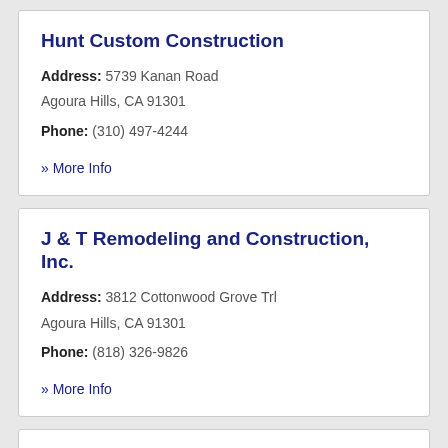Hunt Custom Construction
Address: 5739 Kanan Road
Agoura Hills, CA 91301
Phone: (310) 497-4244
» More Info
J & T Remodeling and Construction, Inc.
Address: 3812 Cottonwood Grove Trl
Agoura Hills, CA 91301
Phone: (818) 326-9826
» More Info